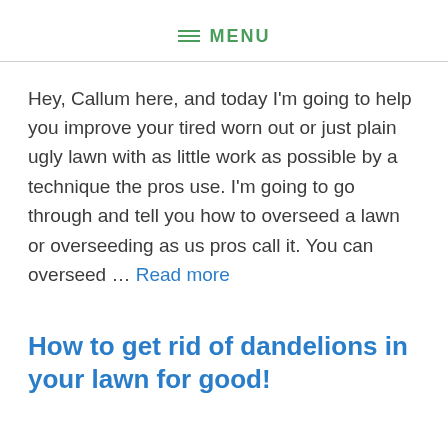≡ MENU
Hey, Callum here, and today I'm going to help you improve your tired worn out or just plain ugly lawn with as little work as possible by a technique the pros use. I'm going to go through and tell you how to overseed a lawn or overseeding as us pros call it. You can overseed … Read more
How to get rid of dandelions in your lawn for good!